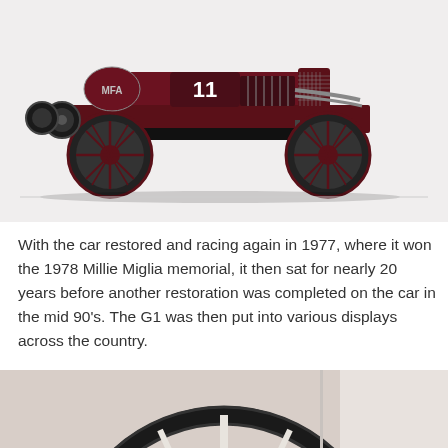[Figure (photo): Side profile view of a vintage dark red/maroon open-wheel racing car with the number 11, wire-spoke wheels, exposed engine, and external spare tires mounted at the rear. The car appears to be an early 1920s grand prix racer with MFA branding on the fuel tank.]
With the car restored and racing again in 1977, where it won the 1978 Millie Miglia memorial, it then sat for nearly 20 years before another restoration was completed on the car in the mid 90's. The G1 was then put into various displays across the country.
[Figure (photo): Close-up view of a vintage car steering wheel, black rim with spokes, against a light pinkish-beige painted surface. A bolt or fastener is visible at the center hub.]